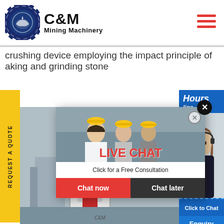[Figure (logo): C&M Mining Machinery logo with eagle in gear circle, navy blue and black]
crushing device employing the impact principle of aking and grinding stone
REQUEST A QUOTE
[Figure (photo): Industrial mining machinery/mill equipment in factory setting]
[Figure (photo): Woman with headset, customer service representative, right panel]
Hours
line
[Figure (screenshot): Live chat popup overlay with workers in hard hats, LIVE CHAT heading in red, Chat now and Chat later buttons]
Click to Chat
Enquiry